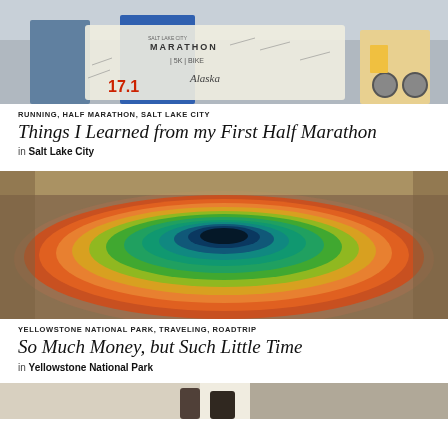[Figure (photo): Person holding a half marathon race banner/bib at Salt Lake City Marathon event, with signatures on a white banner showing '17.1', Alaska Airlines logo, marathon runners and spectators in background]
RUNNING, HALF MARATHON, SALT LAKE CITY
Things I Learned from my First Half Marathon
in Salt Lake City
[Figure (photo): Aerial view of a colorful hot spring pool at Yellowstone National Park, with vivid orange, red, green and deep blue concentric rings around the thermal pool]
YELLOWSTONE NATIONAL PARK, TRAVELING, ROADTRIP
So Much Money, but Such Little Time
in Yellowstone National Park
[Figure (photo): Partial photo at bottom of page, cropped — appears to show people outdoors]